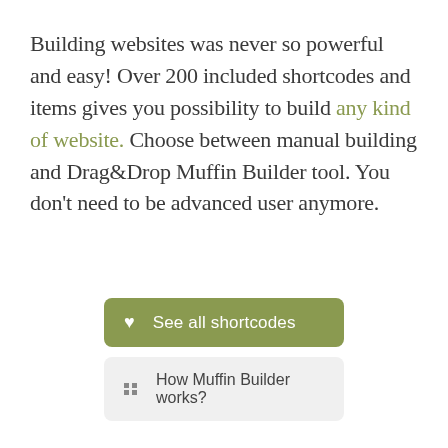Building websites was never so powerful and easy! Over 200 included shortcodes and items gives you possibility to build any kind of website. Choose between manual building and Drag&Drop Muffin Builder tool. You don't need to be advanced user anymore.
[Figure (other): Green rounded button with heart icon and label 'See all shortcodes']
[Figure (other): Light grey rounded button with grid/dots icon and label 'How Muffin Builder works?']